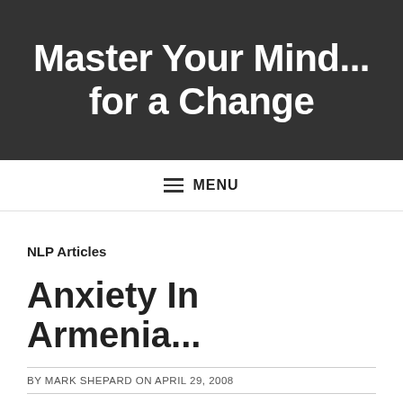Master Your Mind... for a Change
≡ MENU
NLP Articles
Anxiety In Armenia...
BY MARK SHEPARD ON APRIL 29, 2008